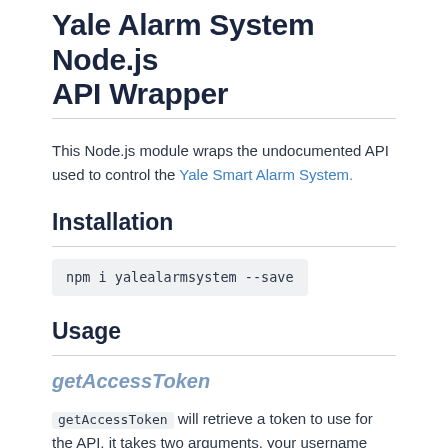Yale Alarm System Node.js API Wrapper
This Node.js module wraps the undocumented API used to control the Yale Smart Alarm System.
Installation
npm i yalealarmsystem --save
Usage
getAccessToken
getAccessToken will retrieve a token to use for the API, it takes two arguments, your username and